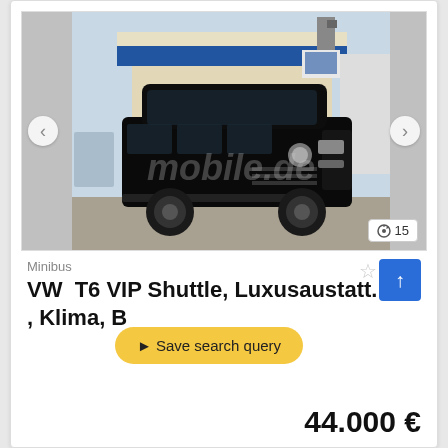[Figure (photo): Black Volkswagen T6 VIP Shuttle minibus parked in front of a commercial building with blue and beige facade]
Minibus
VW  T6 VIP Shuttle, Luxusaustatt. TV , Klima, B
Save search query
44.000 €